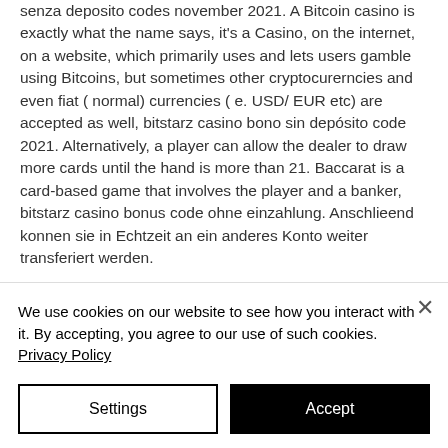senza deposito codes november 2021. A Bitcoin casino is exactly what the name says, it's a Casino, on the internet, on a website, which primarily uses and lets users gamble using Bitcoins, but sometimes other cryptocurerncies and even fiat ( normal) currencies ( e. USD/ EUR etc) are accepted as well, bitstarz casino bono sin depósito code 2021. Alternatively, a player can allow the dealer to draw more cards until the hand is more than 21. Baccarat is a card-based game that involves the player and a banker, bitstarz casino bonus code ohne einzahlung. Anschlieend konnen sie in Echtzeit an ein anderes Konto weiter transferiert werden.
We use cookies on our website to see how you interact with it. By accepting, you agree to our use of such cookies. Privacy Policy